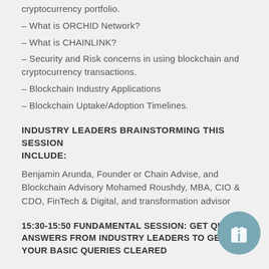cryptocurrency portfolio.
– What is ORCHID Network?
– What is CHAINLINK?
– Security and Risk concerns in using blockchain and cryptocurrency transactions.
– Blockchain Industry Applications
– Blockchain Uptake/Adoption Timelines.
INDUSTRY LEADERS BRAINSTORMING THIS SESSION INCLUDE:
Benjamin Arunda, Founder or Chain Advise, and Blockchain Advisory Mohamed Roushdy, MBA, CIO & CDO, FinTech & Digital, and transformation advisor
15:30-15:50 FUNDAMENTAL SESSION: GET QUICK ANSWERS FROM INDUSTRY LEADERS TO GET YOUR BASIC QUERIES CLEARED